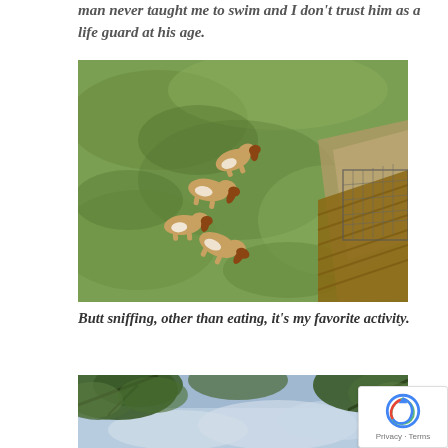man never taught me to swim and I don't trust him as a life guard at his age.
[Figure (photo): Aerial view of several basset hound dogs sniffing each other on a green lawn, with a wooden deck/staircase visible in the lower right corner.]
Butt sniffing, other than eating, it's my favorite activity.
[Figure (photo): Upward view of trees against a cloudy sky, with green leaves and branches.]